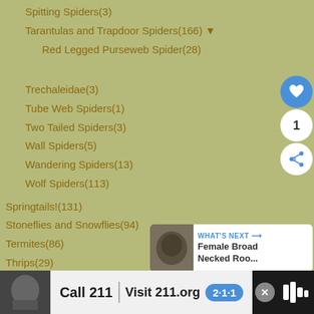Spitting Spiders(3)
Tarantulas and Trapdoor Spiders(166) ▼
Red Legged Purseweb Spider(28)
Trechaleidae(3)
Tube Web Spiders(1)
Two Tailed Spiders(3)
Wall Spiders(5)
Wandering Spiders(13)
Wolf Spiders(113)
Springtails!(131)
Stoneflies and Snowflies(94)
Termites(86)
Thrips(29)
Ticks(59)
True Bugs(2855) ▼
Assassin Bugs(780) ▼
Ambush Bugs(46)
Bark Bugs(1)
[Figure (screenshot): UI floating buttons: heart/like button (blue circle), count badge showing 1, share button (white circle)]
[Figure (screenshot): What's Next widget showing thumbnail and text 'Female Broad Necked Roo...']
[Figure (screenshot): Advertisement bar at bottom: Call 211 | Visit 211.org with 211 badge]